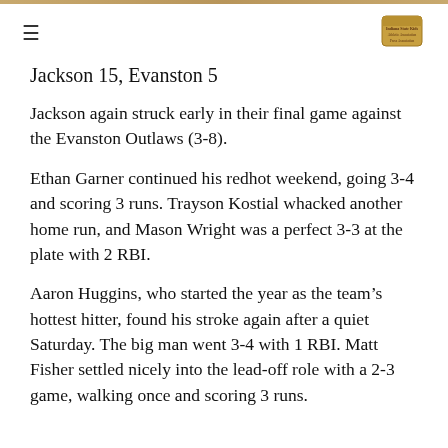≡  [Logo]
Jackson 15, Evanston 5
Jackson again struck early in their final game against the Evanston Outlaws (3-8).
Ethan Garner continued his redhot weekend, going 3-4 and scoring 3 runs. Trayson Kostial whacked another home run, and Mason Wright was a perfect 3-3 at the plate with 2 RBI.
Aaron Huggins, who started the year as the team's hottest hitter, found his stroke again after a quiet Saturday. The big man went 3-4 with 1 RBI. Matt Fisher settled nicely into the lead-off role with a 2-3 game, walking once and scoring 3 runs.